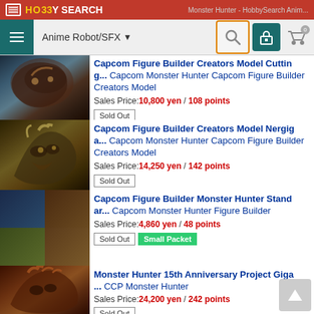HO33Y SEARCH | Monster Hunter - HobbySearch Anim...
Anime Robot/SFX
Capcom Figure Builder Creators Model Cutting... Capcom Monster Hunter Capcom Figure Builder Creators Model
Sales Price: 10,800 yen / 108 points
[Sold Out]
Capcom Figure Builder Creators Model Nergiga... Capcom Monster Hunter Capcom Figure Builder Creators Model
Sales Price: 14,250 yen / 142 points
[Sold Out]
Capcom Figure Builder Monster Hunter Standard... Capcom Monster Hunter Figure Builder
Sales Price: 4,860 yen / 48 points
[Sold Out] [Small Packet]
Monster Hunter 15th Anniversary Project Giga... CCP Monster Hunter
Sales Price: 24,200 yen / 242 points
[Sold Out]